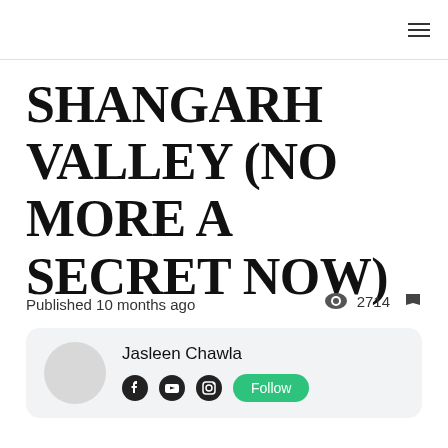≡
SHANGARH VALLEY (NO MORE A SECRET NOW)
Published 10 months ago
2714
Jasleen Chawla